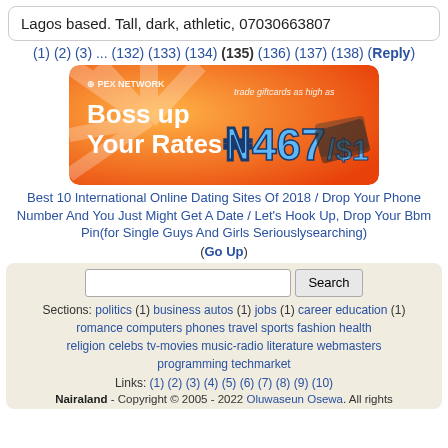Lagos based. Tall, dark, athletic, 07030663807
(1) (2) (3) ... (132) (133) (134) (135) (136) (137) (138) (Reply)
[Figure (illustration): Orange advertisement banner for Pex Network saying 'Boss up Your Rates' with text 'trade giftcards as high as ₦467/$1']
Best 10 International Online Dating Sites Of 2018 / Drop Your Phone Number And You Just Might Get A Date / Let's Hook Up, Drop Your Bbm Pin(for Single Guys And Girls Seriouslysearching)
(Go Up)
Sections: politics (1) business autos (1) jobs (1) career education (1) romance computers phones travel sports fashion health religion celebs tv-movies music-radio literature webmasters programming techmarket
Links: (1) (2) (3) (4) (5) (6) (7) (8) (9) (10)
Nairaland - Copyright © 2005 - 2022 Oluwaseun Osewa. All rights...